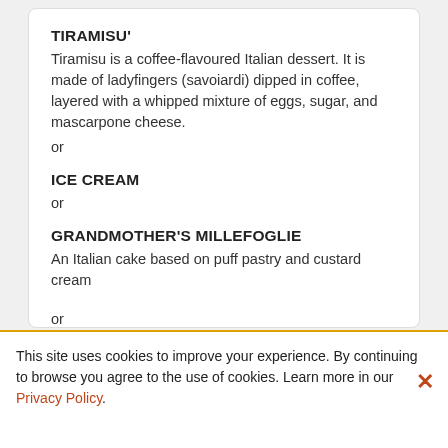TIRAMISU'
Tiramisu is a coffee-flavoured Italian dessert. It is made of ladyfingers (savoiardi) dipped in coffee, layered with a whipped mixture of eggs, sugar, and mascarpone cheese.
or
ICE CREAM
or
GRANDMOTHER'S MILLEFOGLIE
An Italian cake based on puff pastry and custard cream
or
CHOCOLATE CAPRICE CAKE
This site uses cookies to improve your experience. By continuing to browse you agree to the use of cookies. Learn more in our Privacy Policy.